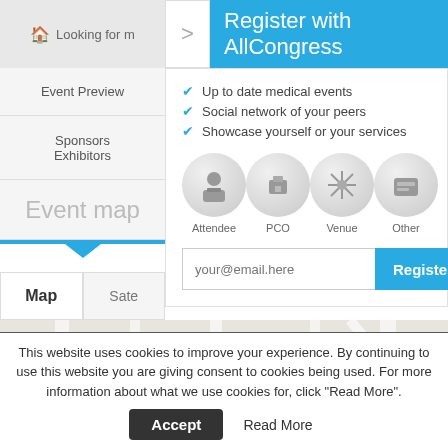Looking for m
Register with AllCongress
Event Preview
Sponsors Exhibitors
Event map
Up to date medical events
Social network of your peers
Showcase yourself or your services
[Figure (illustration): Four circular icon buttons: Attendee, PCO, Venue, Other]
your@email.here
Register
Map
Sate
[Figure (map): Street map showing Rua Da Junqueira area with Instituto de Higiene e Medicina Tropical location pin]
Rua Da Junqueira
This website uses cookies to improve your experience. By continuing to use this website you are giving consent to cookies being used. For more information about what we use cookies for, click "Read More".
Accept
Read More